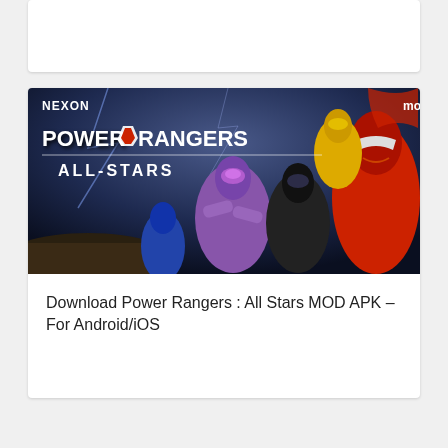[Figure (screenshot): Top card placeholder (partial card at top of page, white background)]
[Figure (screenshot): Power Rangers All Stars mobile game promotional image by Nexon showing Power Rangers characters in action poses with the game logo 'Power Rangers All-Stars' and 'NEXON' branding on a dark dramatic background]
Download Power Rangers : All Stars MOD APK – For Android/iOS